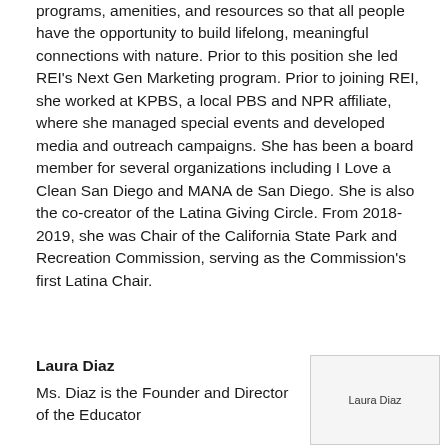programs, amenities, and resources so that all people have the opportunity to build lifelong, meaningful connections with nature. Prior to this position she led REI's Next Gen Marketing program. Prior to joining REI, she worked at KPBS, a local PBS and NPR affiliate, where she managed special events and developed media and outreach campaigns. She has been a board member for several organizations including I Love a Clean San Diego and MANA de San Diego. She is also the co-creator of the Latina Giving Circle. From 2018-2019, she was Chair of the California State Park and Recreation Commission, serving as the Commission's first Latina Chair.
Laura Diaz
Ms. Diaz is the Founder and Director of the Educator
[Figure (photo): Portrait photo placeholder labeled 'Laura Diaz']